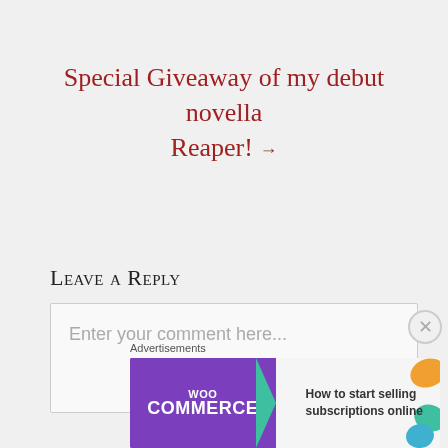Special Giveaway of my debut novella Reaper! →
Leave a Reply
Enter your comment here...
Advertisements
[Figure (screenshot): WooCommerce advertisement banner showing purple logo on left and text 'How to start selling subscriptions online' on right with colorful leaf graphics]